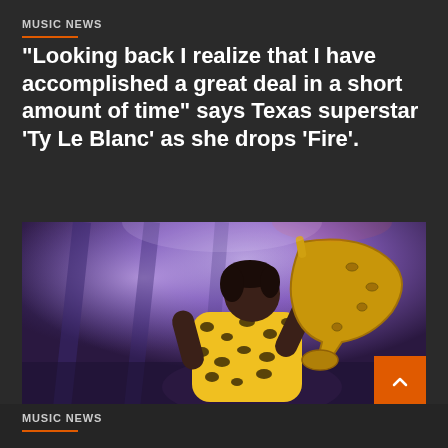MUSIC NEWS
“Looking back I realize that I have accomplished a great deal in a short amount of time” says Texas superstar ‘Ty Le Blanc’ as she drops ‘Fire’.
[Figure (photo): Performer in yellow leopard-print outfit playing saxophone on stage with purple/blue stage lighting]
MUSIC NEWS